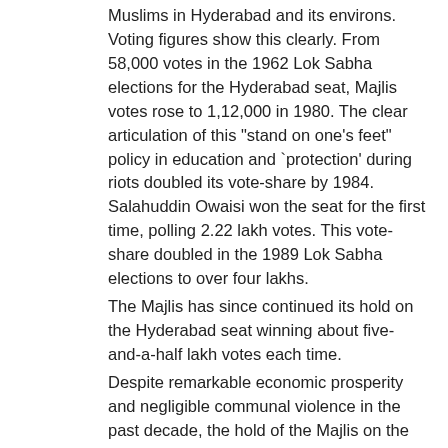Muslims in Hyderabad and its environs. Voting figures show this clearly. From 58,000 votes in the 1962 Lok Sabha elections for the Hyderabad seat, Majlis votes rose to 1,12,000 in 1980. The clear articulation of this "stand on one's feet" policy in education and `protection' during riots doubled its vote-share by 1984. Salahuddin Owaisi won the seat for the first time, polling 2.22 lakh votes. This vote-share doubled in the 1989 Lok Sabha elections to over four lakhs.
The Majlis has since continued its hold on the Hyderabad seat winning about five-and-a-half lakh votes each time.
Despite remarkable economic prosperity and negligible communal violence in the past decade, the hold of the Majlis on the Muslims of Hyderabad remains, despite minor dents. And despite widespread allegations of Majlis leaders having "made money", most ordinary Muslims continue to support them because, as one bank executive put it "they represent our issues clearly and unambiguously". An old Historian Bakhtiyar khan says the Owaisi family was a rich family even before entering